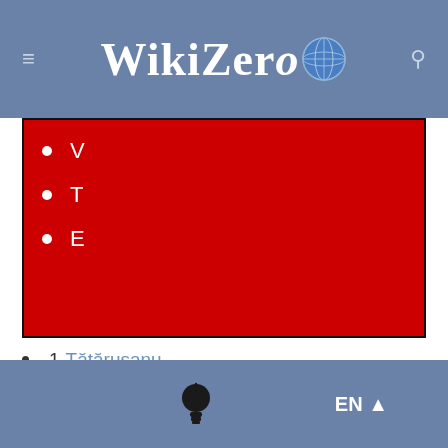WikiZero
V
T
E
1 Tătărușanu
2 Calabria (c)
4 Bennacer
5 Ballo-Touré
7 Adli
8 Tonali
9 Giroud
10 Díaz
EN